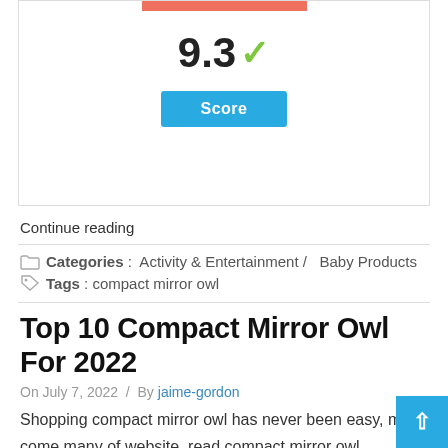[Figure (infographic): Score display showing 9.3 with a green checkmark and a blue 'Score' button, inside a bordered box with a coral/orange bar at the top]
Continue reading
Categories :  Activity & Entertainment /   Baby Products
Tags : compact mirror owl
Top 10 Compact Mirror Owl For 2022
On July 7, 2022  /  By jaime-gordon
Shopping compact mirror owl has never been easy, may come many of website, read compact mirror owl